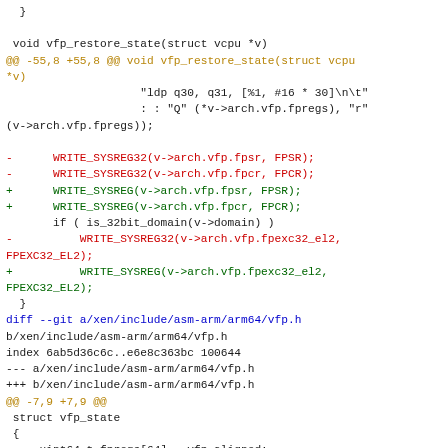Diff/patch code showing changes to vfp_restore_state and vfp.h header file in xen arm64 kernel code.